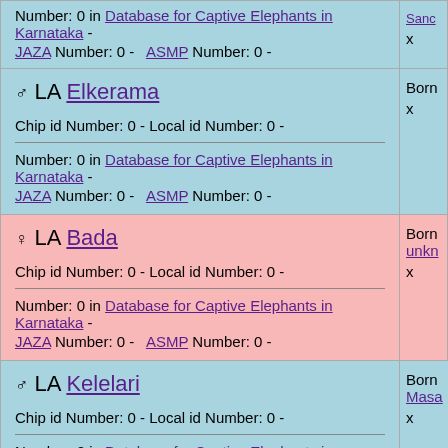Number: 0 in Database for Captive Elephants in Karnataka - JAZA Number: 0 - ASMP Number: 0 -
x
♂ LA Elkerama
Chip id Number: 0 - Local id Number: 0 -
Number: 0 in Database for Captive Elephants in Karnataka - JAZA Number: 0 - ASMP Number: 0 -
Born
x
♀ LA Bada
Chip id Number: 0 - Local id Number: 0 -
Number: 0 in Database for Captive Elephants in Karnataka - JAZA Number: 0 - ASMP Number: 0 -
Born unkn
x
♂ LA Kelelari
Chip id Number: 0 - Local id Number: 0 -
Number: 0 in Database for Captive Elephants in Karnataka - JAZA Number: 0 - ASMP Number: 0 -
Born Masa
x